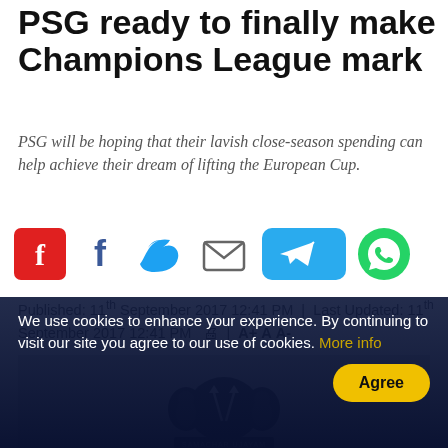PSG ready to finally make Champions League mark
PSG will be hoping that their lavish close-season spending can help achieve their dream of lifting the European Cup.
[Figure (other): Social sharing icons: Flipboard (red), Facebook, Twitter, Email, Telegram (blue pill), WhatsApp (green circle)]
Published: 11th September 2017 12:41 PM  |  Last Updated: 11th September 2017 12:41 PM  🖨  |  A+ A  A-
[Figure (logo): TNIE (The New Indian Express) logo on grey background with emblem of two lions and crossed flags]
We use cookies to enhance your experience. By continuing to visit our site you agree to our use of cookies. More info
Agree